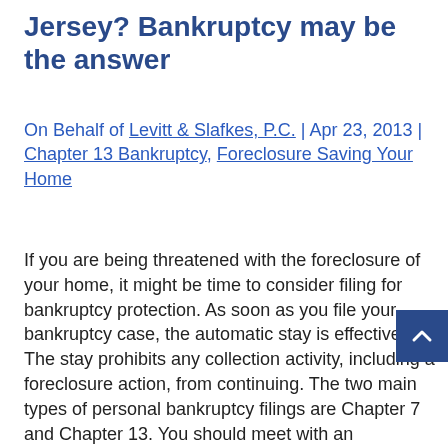Jersey? Bankruptcy may be the answer
On Behalf of Levitt & Slafkes, P.C. | Apr 23, 2013 | Chapter 13 Bankruptcy, Foreclosure Saving Your Home
If you are being threatened with the foreclosure of your home, it might be time to consider filing for bankruptcy protection. As soon as you file your bankruptcy case, the automatic stay is effective. The stay prohibits any collection activity, including a foreclosure action, from continuing. The two main types of personal bankruptcy filings are Chapter 7 and Chapter 13. You should meet with an experienced New Jersey bankruptcy attorney to discuss which type of filing is best for your individual circumstances